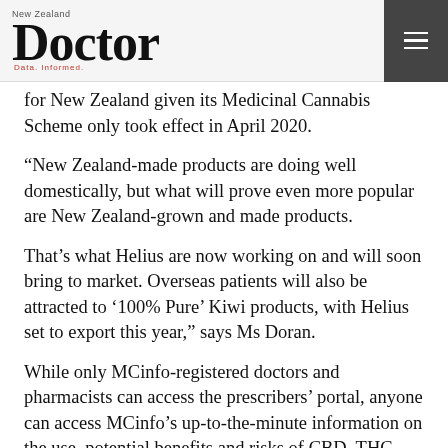New Zealand Doctor
for New Zealand given its Medicinal Cannabis Scheme only took effect in April 2020.
“New Zealand-made products are doing well domestically, but what will prove even more popular are New Zealand-grown and made products.
That’s what Helius are now working on and will soon bring to market. Overseas patients will also be attracted to ‘100% Pure’ Kiwi products, with Helius set to export this year,” says Ms Doran.
While only MCinfo-registered doctors and pharmacists can access the prescribers’ portal, anyone can access MCinfo’s up-to-the-minute information on the use, potential benefits and risks of CBD, THC, and other medicinal cannabinoid products. As well as proving virtual resources, MCinfo also has Medical Science Liaisons (MSLs) visiting doctors.